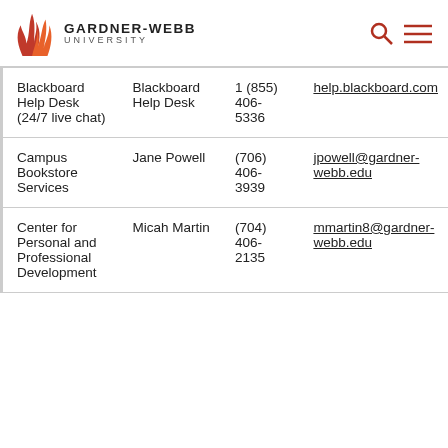GARDNER-WEBB UNIVERSITY
| Service | Contact | Phone | Email/URL |
| --- | --- | --- | --- |
| Blackboard Help Desk (24/7 live chat) | Blackboard Help Desk | 1 (855) 406-5336 | help.blackboard.com |
| Campus Bookstore Services | Jane Powell | (706) 406-3939 | jpowell@gardner-webb.edu |
| Center for Personal and Professional Development | Micah Martin | (704) 406-2135 | mmartin8@gardner-webb.edu |